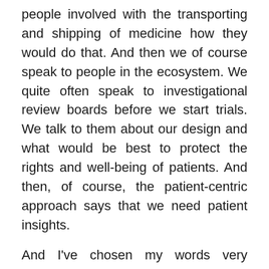people involved with the transporting and shipping of medicine how they would do that. And then we of course speak to people in the ecosystem. We quite often speak to investigational review boards before we start trials. We talk to them about our design and what would be best to protect the rights and well-being of patients. And then, of course, the patient-centric approach says that we need patient insights.
And I've chosen my words very carefully because the insights are really important. Not all patients—and I'm very respectful that some patients are very intelligent and actually may be involved in this. Some patients can